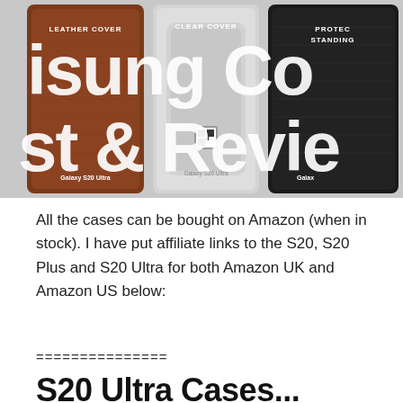[Figure (photo): Three Samsung Galaxy S20 Ultra cases in packaging: brown Leather Cover (left), clear transparent Clear Cover (center), and dark Protective Standing Cover (right). Large overlaid text reads 'isung Co...' and 'st & Revie...' across the image.]
All the cases can be bought on Amazon (when in stock). I have put affiliate links to the S20, S20 Plus and S20 Ultra for both Amazon UK and Amazon US below:
===============
S20 Ultra Cases...